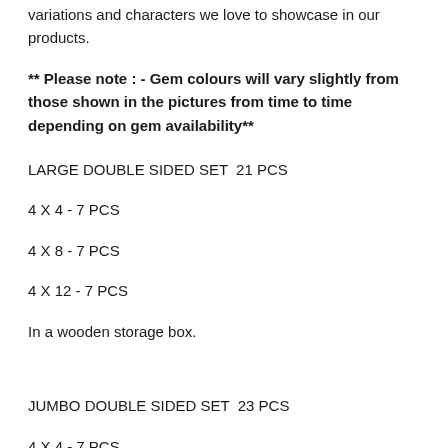variations and characters we love to showcase in our products.
** Please note : - Gem colours will vary slightly from those shown in the pictures from time to time depending on gem availability**
LARGE DOUBLE SIDED SET  21 PCS
4 X 4 - 7 PCS
4 X 8 - 7 PCS
4 X 12 - 7 PCS
In a wooden storage box.
JUMBO DOUBLE SIDED SET  23 PCS
4 X 4 - 7 PCS